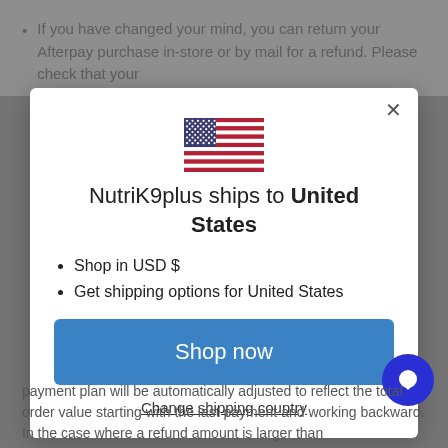If you have changed your mind, you can return your Afterpay purchase in-store or by mail for a refund. Please check that your
[Figure (screenshot): Modal dialog showing US flag, text 'NutriK9plus ships to United States', bullet points 'Shop in USD $' and 'Get shipping options for United States', a blue 'Shop now' button, and a 'Change shipping country' link. A blue chat bubble icon appears in the bottom right corner.]
payment plan will be automatically adjusted to reflect the total order value starting with the last payment and working backward. In the case where a refund amount is larger than